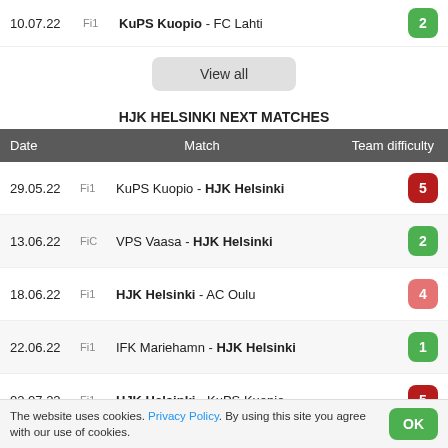10.07.22 Fi1 KuPS Kuopio - FC Lahti 2
View all
HJK HELSINKI NEXT MATCHES
| Date | Match | Team difficulty |
| --- | --- | --- |
| 29.05.22 | Fi1 | KuPS Kuopio - HJK Helsinki | 5 |
| 13.06.22 | FiC | VPS Vaasa - HJK Helsinki | 2 |
| 18.06.22 | Fi1 | HJK Helsinki - AC Oulu | 4 |
| 22.06.22 | Fi1 | IFK Mariehamn - HJK Helsinki | 1 |
| 02.07.22 | Fi1 | HJK Helsinki - KuPS Kuopio | 5 |
| 16.07.22 | Fi1 | HJK Helsinki - VPS Vaasa | 2 |
The website uses cookies. Privacy Policy. By using this site you agree with our use of cookies.